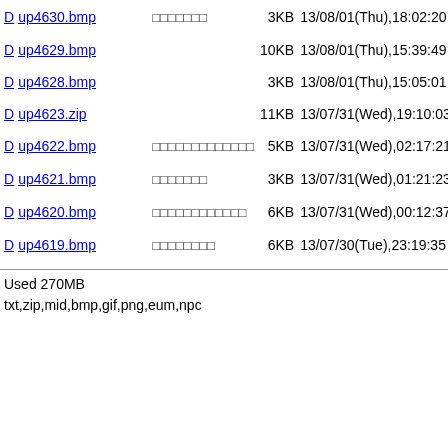D up4630.bmp □□□□□□□ 3KB 13/08/01(Thu),18:02:20 in
D up4629.bmp 10KB 13/08/01(Thu),15:39:49 in
D up4628.bmp 3KB 13/08/01(Thu),15:05:01 in
D up4623.zip 11KB 13/07/31(Wed),19:10:03 a
D up4622.bmp □□□□□□□□□□□□□ 5KB 13/07/31(Wed),02:17:21 in
D up4621.bmp □□□□□□□ 3KB 13/07/31(Wed),01:21:23 in
D up4620.bmp □□□□□□□□□□□□ 6KB 13/07/31(Wed),00:12:37 in b
D up4619.bmp □□□□□□□□ 6KB 13/07/30(Tue),23:19:35 in
Used 270MB
txt,zip,mid,bmp,gif,png,eum,npc